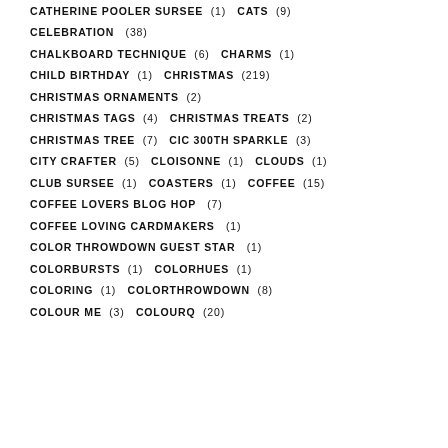CATHERINE POOLER SURSEE (1)   CATS (9)
CELEBRATION (38)
CHALKBOARD TECHNIQUE (6)   CHARMS (1)
CHILD BIRTHDAY (1)   CHRISTMAS (219)
CHRISTMAS ORNAMENTS (2)
CHRISTMAS TAGS (4)   CHRISTMAS TREATS (2)
CHRISTMAS TREE (7)   CIC 300TH SPARKLE (3)
CITY CRAFTER (5)   CLOISONNE (1)   CLOUDS (1)
CLUB SURSEE (1)   COASTERS (1)   COFFEE (15)
COFFEE LOVERS BLOG HOP (7)
COFFEE LOVING CARDMAKERS (1)
COLOR THROWDOWN GUEST STAR (1)
COLORBURSTS (1)   COLORHUES (1)
COLORING (1)   COLORTHROWDOWN (8)
COLOUR ME (3)   COLOURQ (20)